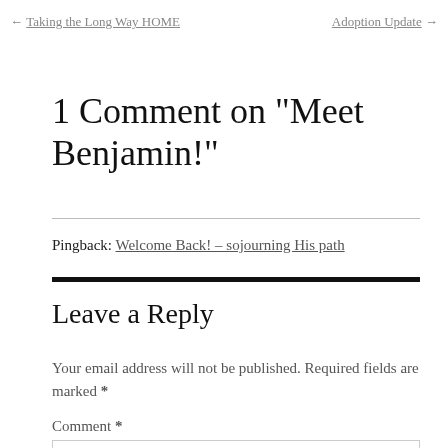← Taking the Long Way HOME    Adoption Update →
1 Comment on “Meet Benjamin!”
Pingback: Welcome Back! – sojourning His path
Leave a Reply
Your email address will not be published. Required fields are marked *
Comment *